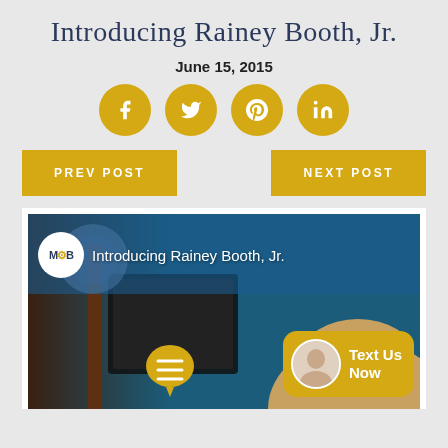Introducing Rainey Booth, Jr.
June 15, 2015
[Figure (infographic): Four golden social media share buttons in circles: Facebook (f), Twitter (bird), Pinterest (p), LinkedIn (in)]
[Figure (other): PREV POST button (gold) and NEXT POST button (gold) navigation]
[Figure (photo): Video thumbnail showing a man at a desk in an office with blue wall. Overlay shows MBM logo and title 'Introducing Rainey Booth, Jr.' A chat widget in the bottom right shows a woman's avatar photo with text 'Text Us Now'. A gold speech bubble icon appears at the bottom center.]